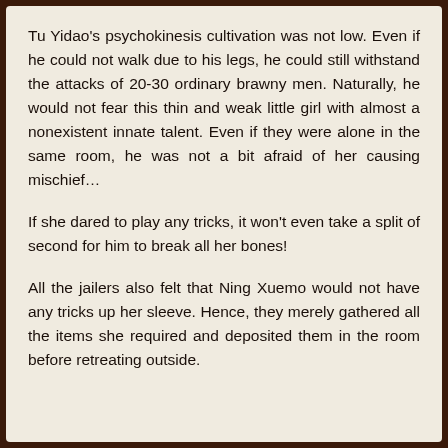Tu Yidao's psychokinesis cultivation was not low. Even if he could not walk due to his legs, he could still withstand the attacks of 20-30 ordinary brawny men. Naturally, he would not fear this thin and weak little girl with almost a nonexistent innate talent. Even if they were alone in the same room, he was not a bit afraid of her causing mischief…
If she dared to play any tricks, it won't even take a split of second for him to break all her bones!
All the jailers also felt that Ning Xuemo would not have any tricks up her sleeve. Hence, they merely gathered all the items she required and deposited them in the room before retreating outside.